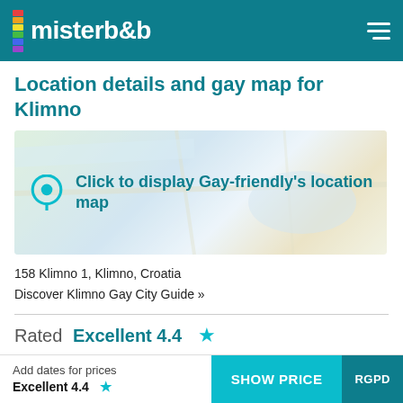misterb&b
Location details and gay map for Klimno
[Figure (map): Interactive map placeholder with pin icon and text 'Click to display Gay-friendly's location map']
158 Klimno 1, Klimno, Croatia
Discover Klimno Gay City Guide »
Rated Excellent 4.4 ★
Caution: this review is no misterb&b traveler review
Add dates for prices | Excellent 4.4 ★ | SHOW PRICE | RGPD